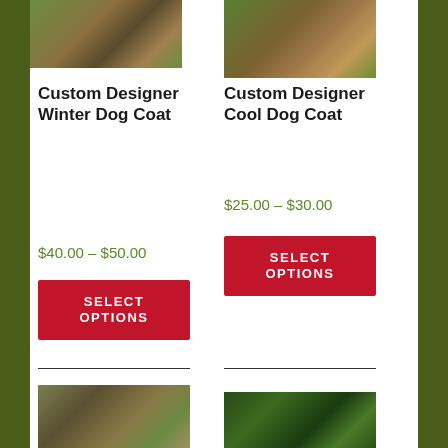[Figure (photo): Dog photo top left - brown/tan dog standing on grass]
[Figure (photo): Dog photo top right - brown/tan dog standing on grass]
Custom Designer Winter Dog Coat
$40.00 – $50.00
SELECT OPTIONS
Custom Designer Cool Dog Coat
$25.00 – $30.00
SELECT OPTIONS
[Figure (photo): Dog wearing plaid coat in yard]
[Figure (photo): Green dog collar]